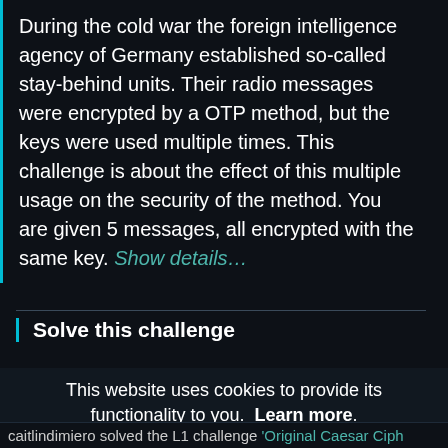During the cold war the foreign intelligence agency of Germany established so-called stay-behind units. Their radio messages were encrypted by a OTP method, but the keys were used multiple times. This challenge is about the effect of this multiple usage on the security of the method. You are given 5 messages, all encrypted with the same key. Show details...
Solve this challenge
This website uses cookies to provide its functionality to you. Learn more. Choose your preference: Technically required Analytics
caitlindimiero solved the L1 challenge 'Original Caesar Ciph